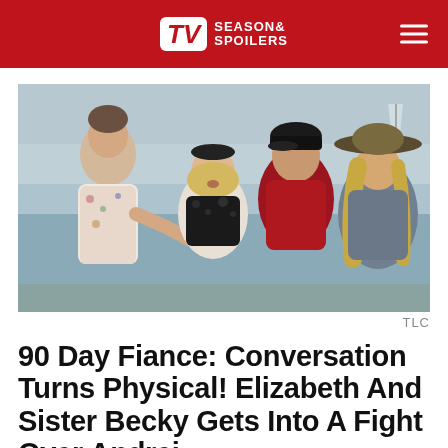TV Season & Spoilers
[Figure (photo): Four people in an argument on a boat deck near water. A man in a floral shirt on the left, a blonde woman in the center front, a man in a dark red polo shirt and black cap in the middle, and a woman with long blonde hair in a wide-brim hat on the right. Outdoor setting with water and a sailboat visible in the background.]
TLC
90 Day Fiance: Conversation Turns Physical! Elizabeth And Sister Becky Gets Into A Fight Over Andrei